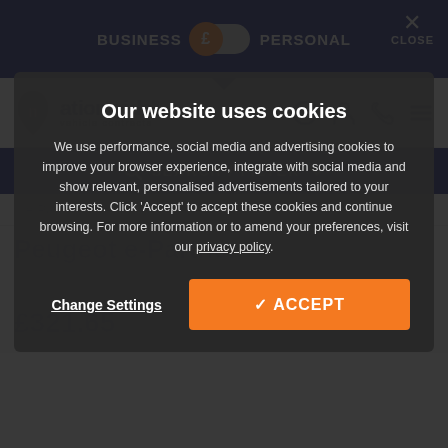BUSINESS £ PERSONAL / CLOSE
[Figure (logo): Nationwide Vehicle Contracts logo with orange UK map icon]
SEARCH / FILTER
< e-Partner
Peugeot e-Partner
Standard 800 ... al Premium Auto MY22 5 Van Leasing and Contract Hire
£321.65 FIXED PRICE MONTHLY + VAT
Our website uses cookies
We use performance, social media and advertising cookies to improve your browser experience, integrate with social media and show relevant, personalised advertisements tailored to your interests. Click 'Accept' to accept these cookies and continue browsing. For more information or to amend your preferences, visit our privacy policy.
Change Settings
✓ ACCEPT